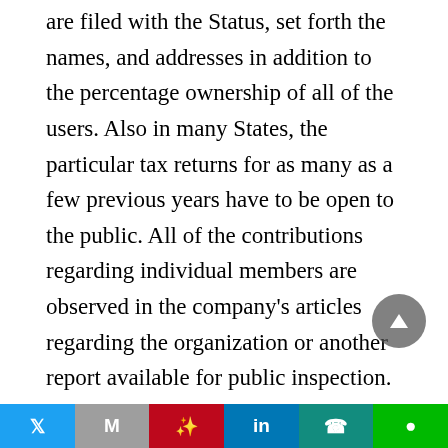are filed with the Status, set forth the names, and addresses in addition to the percentage ownership of all of the users. Also in many States, the particular tax returns for as many as a few previous years have to be open to the public. All of the contributions regarding individual members are observed in the company's articles regarding the organization or another report available for public inspection.

In a few states, the articles regarding the organization, (or a linked affidavit) must set forth the total of cash, the value of the property, in the beginning, contributed, as well as the total further
Twitter | Gmail | Pinterest | LinkedIn | WhatsApp | LINE